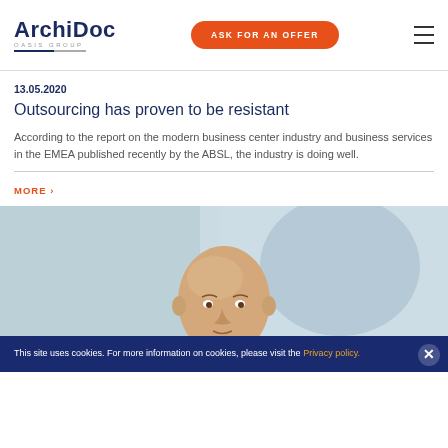ArchiDoc OASIS GROUP | ASK FOR AN OFFER
13.05.2020
Outsourcing has proven to be resistant
According to the report on the modern business center industry and business services in the EMEA published recently by the ABSL, the industry is doing well.
MORE
[Figure (photo): Photo of a bald man, cropped, shown from shoulders up against a blurred office background]
This site uses cookies. For more information on cookies, please visit the Privacy policy.